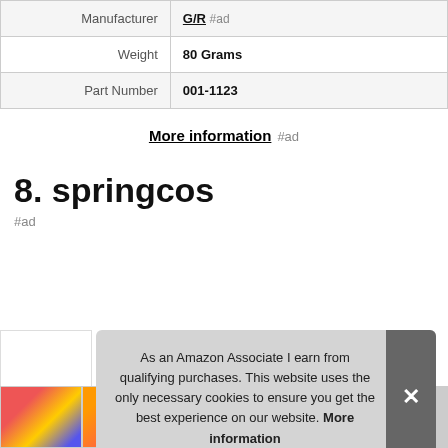| Label | Value |
| --- | --- |
| Manufacturer | G/R #ad |
| Weight | 80 Grams |
| Part Number | 001-1123 |
More information #ad
8. springcos
#ad
As an Amazon Associate I earn from qualifying purchases. This website uses the only necessary cookies to ensure you get the best experience on our website. More information